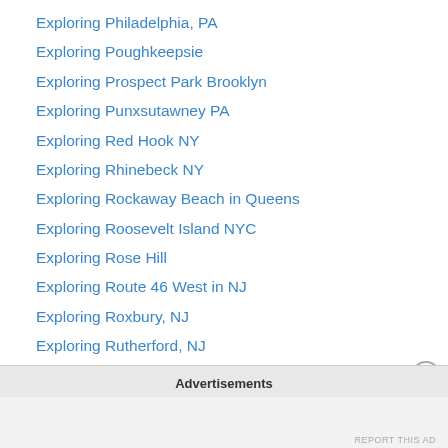Exploring Philadelphia, PA
Exploring Poughkeepsie
Exploring Prospect Park Brooklyn
Exploring Punxsutawney PA
Exploring Red Hook NY
Exploring Rhinebeck NY
Exploring Rockaway Beach in Queens
Exploring Roosevelt Island NYC
Exploring Rose Hill
Exploring Route 46 West in NJ
Exploring Roxbury, NJ
Exploring Rutherford, NJ
Exploring Salem NJ
Exploring Saugerties NY
Exploring Schenectady, NY
Exploring Sea Isle City NJ
Advertisements